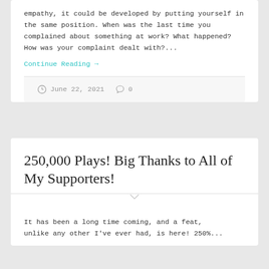empathy, it could be developed by putting yourself in the same position. When was the last time you complained about something at work? What happened? How was your complaint dealt with?...
Continue Reading →
June 22, 2021   0
250,000 Plays! Big Thanks to All of My Supporters!
It has been a long time coming, and a feat, unlike any other I've ever had, is here! 250%...